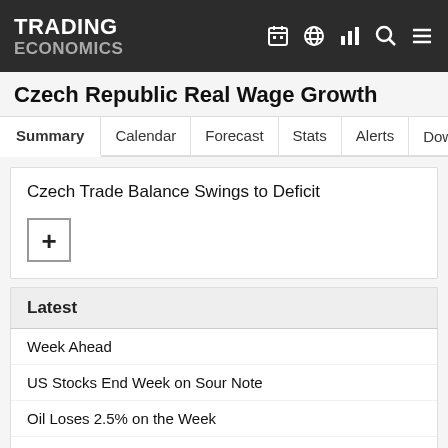TRADING ECONOMICS
Czech Republic Real Wage Growth
Summary | Calendar | Forecast | Stats | Alerts | Download
Czech Trade Balance Swings to Deficit
Latest
Week Ahead
US Stocks End Week on Sour Note
Oil Loses 2.5% on the Week
UK Shares Rise to Over 10-Week Highs
South African Stocks Close Deeply in the Red
Russian Stocks Report...